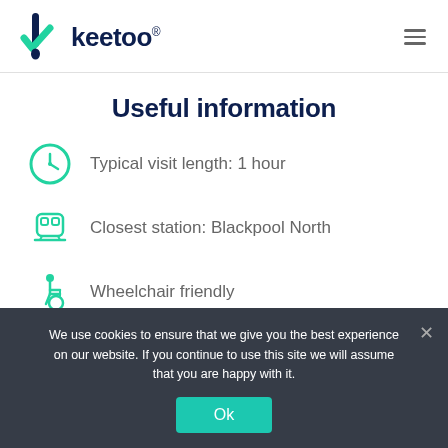keetoo® [logo + hamburger menu]
Useful information
Typical visit length: 1 hour
Closest station: Blackpool North
Wheelchair friendly
We use cookies to ensure that we give you the best experience on our website. If you continue to use this site we will assume that you are happy with it.